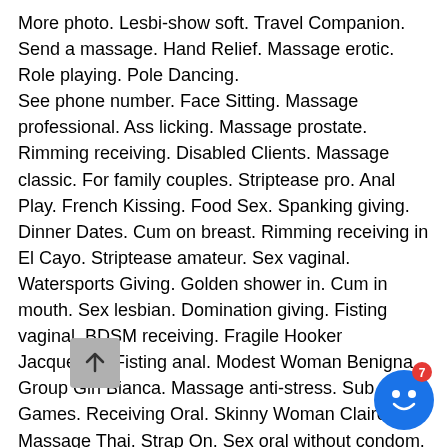More photo. Lesbi-show soft. Travel Companion. Send a massage. Hand Relief. Massage erotic. Role playing. Pole Dancing. See phone number. Face Sitting. Massage professional. Ass licking. Massage prostate. Rimming receiving. Disabled Clients. Massage classic. For family couples. Striptease pro. Anal Play. French Kissing. Food Sex. Spanking giving. Dinner Dates. Cum on breast. Rimming receiving in El Cayo. Striptease amateur. Sex vaginal. Watersports Giving. Golden shower in. Cum in mouth. Sex lesbian. Domination giving. Fisting vaginal. BDSM receiving. Fragile Hooker Jacqueline. Fisting anal. Modest Woman Benigna. Group Girl Bianca. Massage anti-stress. Sub Games. Receiving Oral. Skinny Woman Claire. Massage Thai. Strap On. Sex oral without condom. Blow ride. Anal in El Cayo. My disponibility is full service. My pussy is we... provide services to respectful gentlemen in Prague... outside for international travel. Waiting for you.